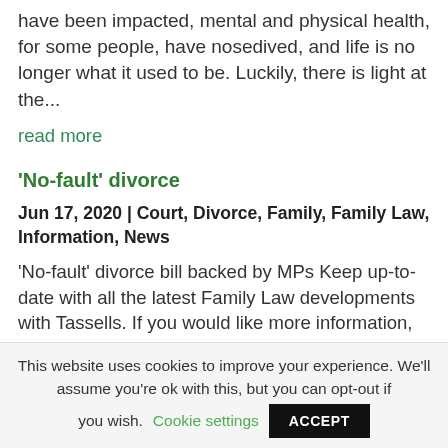have been impacted, mental and physical health, for some people, have nosedived, and life is no longer what it used to be. Luckily, there is light at the...
read more
'No-fault' divorce
Jun 17, 2020 | Court, Divorce, Family, Family Law, Information, News
'No-fault' divorce bill backed by MPs Keep up-to-date with all the latest Family Law developments with Tassells. If you would like more information, please contact us on 01795 533337 and
This website uses cookies to improve your experience. We'll assume you're ok with this, but you can opt-out if you wish.
Cookie settings
ACCEPT